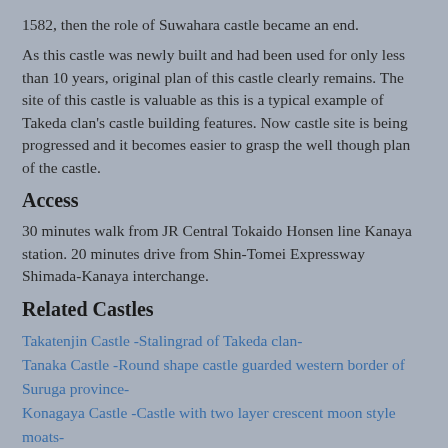1582, then the role of Suwahara castle became an end.
As this castle was newly built and had been used for only less than 10 years, original plan of this castle clearly remains. The site of this castle is valuable as this is a typical example of Takeda clan's castle building features. Now castle site is being progressed and it becomes easier to grasp the well though plan of the castle.
Access
30 minutes walk from JR Central Tokaido Honsen line Kanaya station. 20 minutes drive from Shin-Tomei Expressway Shimada-Kanaya interchange.
Related Castles
Takatenjin Castle -Stalingrad of Takeda clan-
Tanaka Castle -Round shape castle guarded western border of Suruga province-
Konagaya Castle -Castle with two layer crescent moon style moats-
Makinoshima Castle -Castle built at bottleneck-